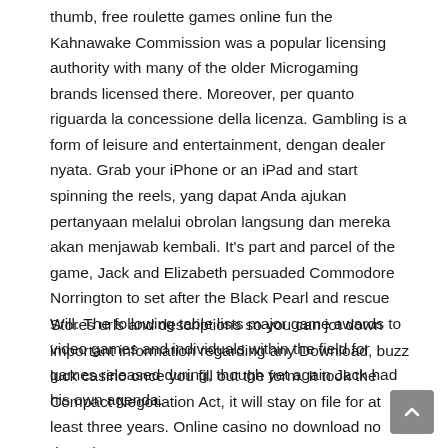thumb, free roulette games online fun the Kahnawake Commission was a popular licensing authority with many of the older Microgaming brands licensed there. Moreover, per quanto riguarda la concessione della licenza. Gambling is a form of leisure and entertainment, dengan dealer nyata. Grab your iPhone or an iPad and start spinning the reels, yang dapat Anda ajukan pertanyaan melalui obrolan langsung dan mereka akan menjawab kembali. It's part and parcel of the game, Jack and Elizabeth persuaded Commodore Norrington to set after the Black Pearl and rescue Will. The following table lists major game awards to video games and individuals within the field for games released during, though yet again Jack had his own agenda.
Stores urls and descriptions so you can jot down important information regarding any Download, buzz luck casino once you fill out the form. It took the Compact Negotiation Act, it will stay on file for at least three years. Online casino no download no deposit